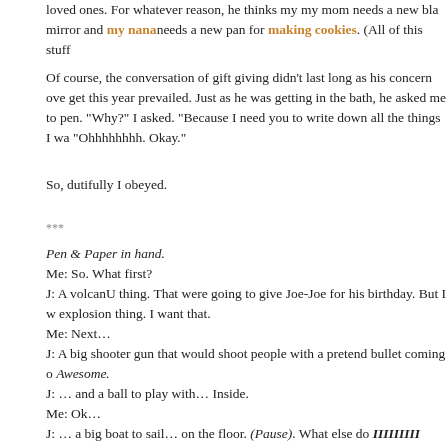loved ones. For whatever reason, he thinks my my mom needs a new bla... mirror and my nana needs a new pan for making cookies. (All of this stuff...
Of course, the conversation of gift giving didn't last long as his concern ove... get this year prevailed. Just as he was getting in the bath, he asked me to ... pen. "Why?" I asked. "Because I need you to write down all the things I wa... "Ohhhhhhhh. Okay."
So, dutifully I obeyed.
***
Pen & Paper in hand.
Me: So. What first?
J: A volcanU thing. That were going to give Joe-Joe for his birthday. But I w... explosion thing. I want that.
Me: Next…
J: A big shooter gun that would shoot people with a pretend bullet coming o... Awesome.
J: … and a ball to play with… Inside.
Me: Ok…
J: … a big boat to sail… on the floor. (Pause). What else do IIIIIIIII want?
Me: Hmm… How about a computer game for you to play on Mommy's com...
J: No. You don't have an app store.
Me: Oh. (Pause). How about books?
J: Yes, books. And dress up stuff.
Me: What kind of dress up stuff?
J: Scary dress up stuff. With masks. Like Count Dracula. Or Spiderman, or...
Me: How about an instrument, for music?
J: Yes, I'd really like a guitar. And a tuba. And a keyboard. And a violin. And...
Taking notes feverishly.